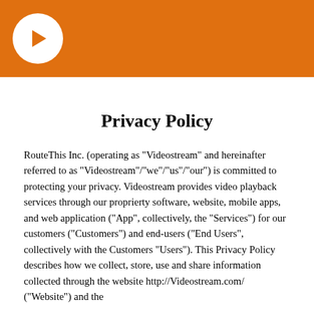[Figure (logo): Orange header bar with white circle containing an orange right-pointing chevron/play arrow logo]
Privacy Policy
RouteThis Inc. (operating as "Videostream" and hereinafter referred to as "Videostream"/"we"/"us"/"our") is committed to protecting your privacy. Videostream provides video playback services through our proprierty software, website, mobile apps, and web application ("App", collectively, the "Services") for our customers ("Customers") and end-users ("End Users", collectively with the Customers "Users"). This Privacy Policy describes how we collect, store, use and share information collected through the website http://Videostream.com/ ("Website") and the